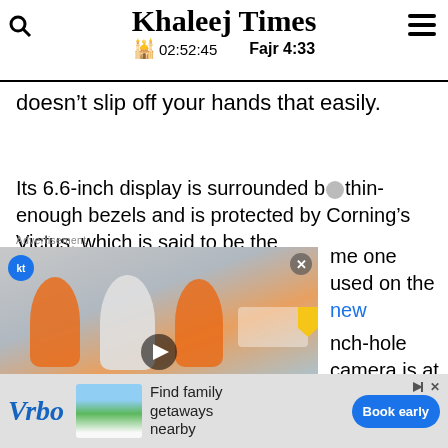Khaleej Times | 02:52:45 | Fajr 4:33
doesn’t slip off your hands that easily.
Its 6.6-inch display is surrounded by thin-enough bezels and is protected by Corning’s Victus, which is said to be the same one used on the new [model]. The punch-hole camera is at the top of the uncompromised display.
[Figure (screenshot): Video thumbnail showing three cyclists riding on a road with text overlay: Meet three friends cycling from Tajikistan to Saudi Arabia via UAE]
[Figure (other): Vrbo advertisement banner: Find family getaways nearby. Book early button.]